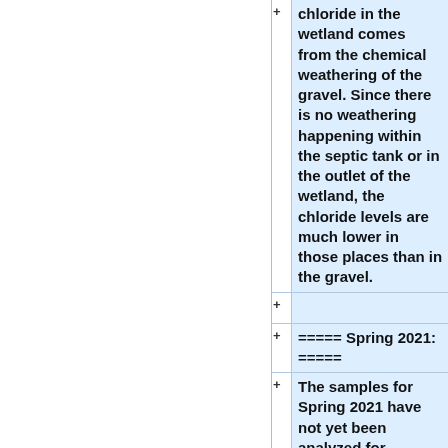chloride in the wetland comes from the chemical weathering of the gravel. Since there is no weathering happening within the septic tank or in the outlet of the wetland, the chloride levels are much lower in those places than in the gravel.
===== Spring 2021: =====
The samples for Spring 2021 have not yet been analyzed for chloride.
<br>